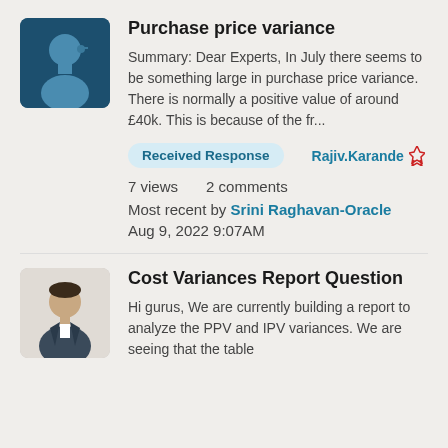[Figure (illustration): Avatar icon of a person silhouette with dark teal background]
Purchase price variance
Summary: Dear Experts, In July there seems to be something large in purchase price variance. There is normally a positive value of around £40k. This is because of the fr...
Received Response
Rajiv.Karande
7 views    2 comments
Most recent by Srini Raghavan-Oracle
Aug 9, 2022 9:07AM
[Figure (photo): Profile photo of a man in a suit with light background]
Cost Variances Report Question
Hi gurus, We are currently building a report to analyze the PPV and IPV variances. We are seeing that the table